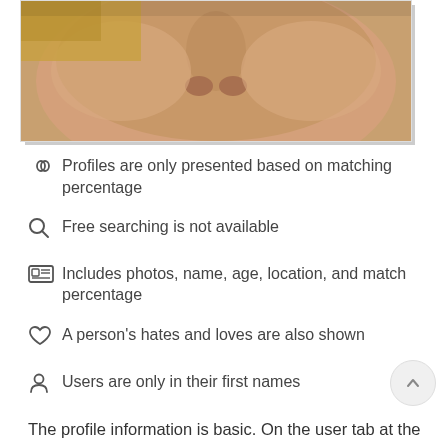[Figure (photo): Partial close-up photo of a person's face (nose and cheeks visible), with blonde hair, cropped at the top of the page]
Profiles are only presented based on matching percentage
Free searching is not available
Includes photos, name, age, location, and match percentage
A person's hates and loves are also shown
Users are only in their first names
The profile information is basic. On the user tab at the bottom of the phone screen, you'll see your potential matches. Once you click on any of your matches, you will be able to view their profile page. The matches are curated